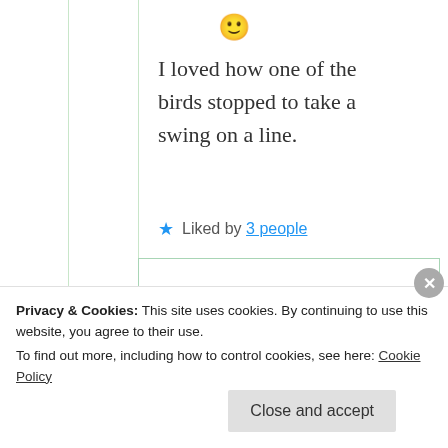[Figure (illustration): Smiley face emoji]
I loved how one of the birds stopped to take a swing on a line.
★ Liked by 3 people
[Figure (photo): Circular avatar photo of Suma Reddy]
Suma Reddy
2nd Jun 2021 at
Privacy & Cookies: This site uses cookies. By continuing to use this website, you agree to their use.
To find out more, including how to control cookies, see here: Cookie Policy
Close and accept